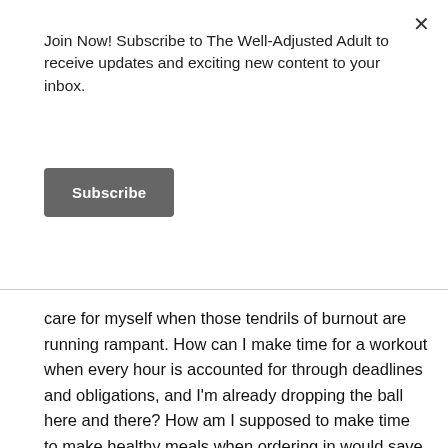Join Now! Subscribe to The Well-Adjusted Adult to receive updates and exciting new content to your inbox.
Subscribe
care for myself when those tendrils of burnout are running rampant. How can I make time for a workout when every hour is accounted for through deadlines and obligations, and I'm already dropping the ball here and there? How am I supposed to make time to make healthy meals when ordering in would save me at least an hour? I ask myself these questions, pop an Oreo and a handful of cheez-its in my mouth, and keep slogging miserably through the burnout. In normal times I exercise approximately 4 days a week. When the burnout reaches a